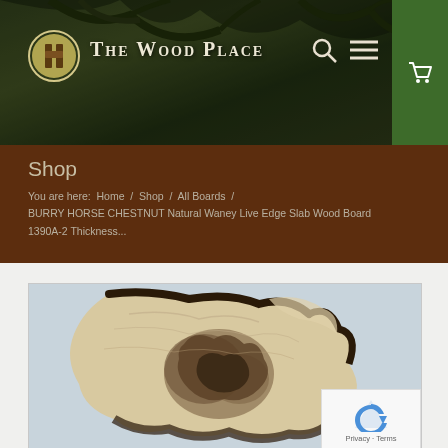The Wood Place
Shop
You are here:  Home  /  Shop  /  All Boards  /  BURRY HORSE CHESTNUT Natural Waney Live Edge Slab Wood Board 1390A-2 Thickness...
[Figure (photo): Photo of a Burry Horse Chestnut natural waney live edge slab wood board showing the burred wood grain texture with dark bark edges on a light blue background]